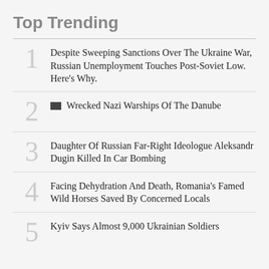Top Trending
Despite Sweeping Sanctions Over The Ukraine War, Russian Unemployment Touches Post-Soviet Low. Here's Why.
Wrecked Nazi Warships Of The Danube
Daughter Of Russian Far-Right Ideologue Aleksandr Dugin Killed In Car Bombing
Facing Dehydration And Death, Romania's Famed Wild Horses Saved By Concerned Locals
Kyiv Says Almost 9,000 Ukrainian Soldiers